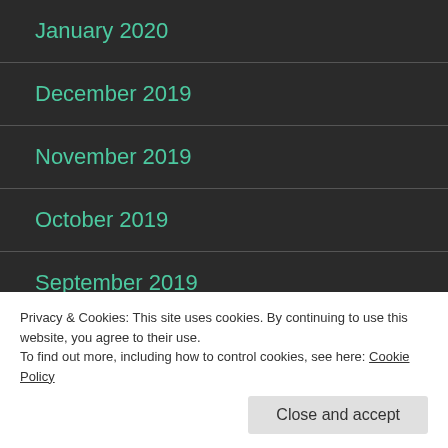January 2020
December 2019
November 2019
October 2019
September 2019
August 2019
Privacy & Cookies: This site uses cookies. By continuing to use this website, you agree to their use.
To find out more, including how to control cookies, see here: Cookie Policy
Close and accept